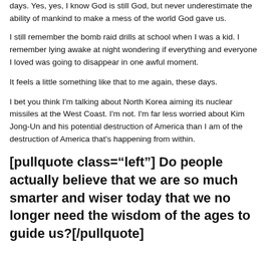days. Yes, yes, I know God is still God, but never underestimate the ability of mankind to make a mess of the world God gave us.
I still remember the bomb raid drills at school when I was a kid. I remember lying awake at night wondering if everything and everyone I loved was going to disappear in one awful moment.
It feels a little something like that to me again, these days.
I bet you think I'm talking about North Korea aiming its nuclear missiles at the West Coast. I'm not. I'm far less worried about Kim Jong-Un and his potential destruction of America than I am of the destruction of America that's happening from within.
[pullquote class="left"] Do people actually believe that we are so much smarter and wiser today that we no longer need the wisdom of the ages to guide us?[/pullquote]